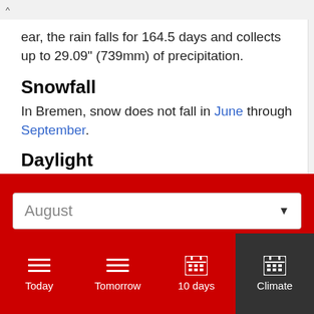^ ...ear, the rain falls for 164.5 days and collects up to 29.09" (739mm) of precipitation.
...ear, the rain falls for 164.5 days and collects up to 29.09" (739mm) of precipitation.
Snowfall
In Bremen, snow does not fall in June through September.
Daylight
In August, the average length of the day in Bremen is 13h and 47min.
On the first day of August, sunrise is at 6:39 am and
August
Today | Tomorrow | 10 days | Climate